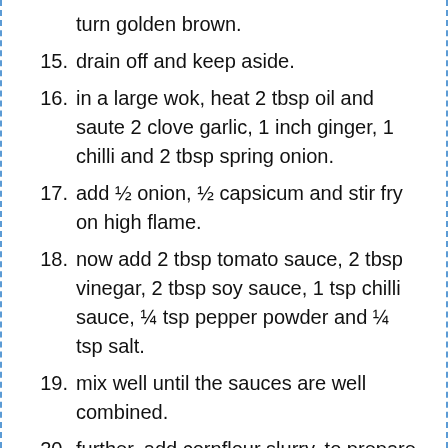turn golden brown.
15. drain off and keep aside.
16. in a large wok, heat 2 tbsp oil and saute 2 clove garlic, 1 inch ginger, 1 chilli and 2 tbsp spring onion.
17. add ½ onion, ½ capsicum and stir fry on high flame.
18. now add 2 tbsp tomato sauce, 2 tbsp vinegar, 2 tbsp soy sauce, 1 tsp chilli sauce, ¼ tsp pepper powder and ¼ tsp salt.
19. mix well until the sauces are well combined.
20. further, add cornflour slurry. to prepare cornflour slurry, mix 2 tsp of cornflour in ¼ cup water.